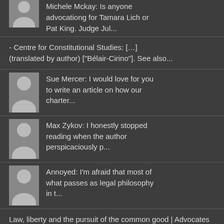Michele Mckay: Is anyone advocationg for Tamara Lich or Pat King. Judge Jul...
- Centre for Constitutional Studies: […] (translated by author) ["Bélair-Cirino"]. See also...
Sue Mercer: I would love for you to write an article on how our charter...
Max Zykov: I honestly stopped reading when the author perspicaciously p...
Annoyed: I'm afraid that most of what passes as legal philosophy in t...
Law, liberty and the pursuit of the common good | Advocates for the Rule of Law: […] response to Sirota and Mancini, Stéphane Sérafin,...
Ashes Hanielmar: How so?...